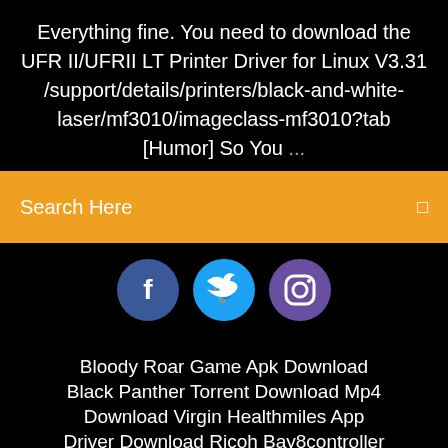Everything fine. You need to download the UFR II/UFRII LT Printer Driver for Linux V3.31 /support/details/printers/black-and-white-laser/mf3010/imageclass-mf3010?tab [Humor] So You ...
Search Here
[Figure (illustration): Three social media icons: Facebook (blue circle with f), Twitter (blue circle with bird), Instagram (purple-blue circle with camera)]
Bloody Roar Game Apk Download
Black Panther Torrent Download Mp4
Download Virgin Healthmiles App
Driver Download Ricoh Bay8controller